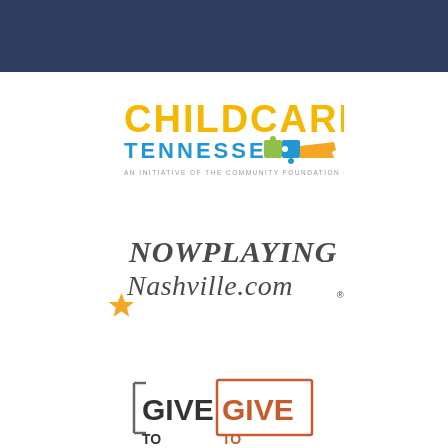[Figure (logo): Dark navy blue header bar at top of page]
[Figure (logo): Childcare Tennessee logo - an initiative of the Community Foundation of Middle Tennessee]
[Figure (logo): NowPlayingNashville.com logo with star]
[Figure (logo): Give Give (partial logo visible at bottom)]